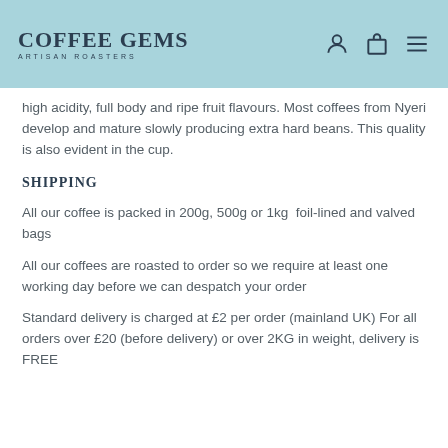Coffee Gems Artisan Roasters
high acidity, full body and ripe fruit flavours. Most coffees from Nyeri develop and mature slowly producing extra hard beans. This quality is also evident in the cup.
Shipping
All our coffee is packed in 200g, 500g or 1kg  foil-lined and valved bags
All our coffees are roasted to order so we require at least one working day before we can despatch your order
Standard delivery is charged at £2 per order (mainland UK) For all orders over £20 (before delivery) or over 2KG in weight, delivery is FREE